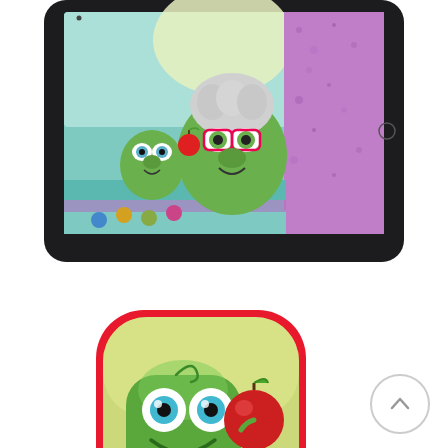[Figure (screenshot): Tablet/iPad showing a colorful children's app screen with two cartoon frog-like characters — a small green one and a larger one wearing glasses with gray hair — against a purple glitter and teal background with buttons.]
[Figure (illustration): App icon with red rounded border showing a green cartoon frog/creature character with big blue eyes holding a red apple, with colorful buttons at the bottom on a light green-yellow background.]
TIGGLY ADDVENTURE a Math Learning System for Kids 4+
This game can be played as a hybrid app with the Tiggly Math toys or s